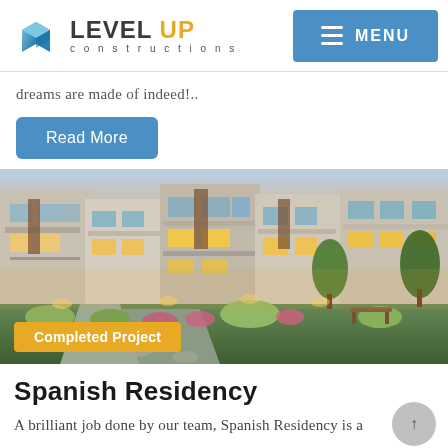LEVEL UP constructions — MENU
dreams are made of indeed!..
Read More
[Figure (photo): Exterior rendering of Spanish Residency multi-story residential complex at dusk with landscaped garden in foreground]
Completed Project
Spanish Residency
A brilliant job done by our team, Spanish Residency is a